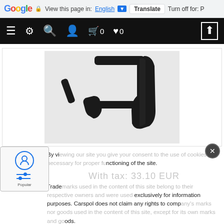Google — View this page in: English [▼] Translate  Turn off for: P
[Figure (screenshot): Black navigation bar with hamburger menu, settings gear, search, user, cart (0), heart (0) icons and up-arrow button on dark background]
[Figure (photo): Black rubber hose/pipe part on white background — automotive engine coolant hose with T-junction]
By viewing our site you give your consent to the use of cookies, necessary for proper functioning of the site.
Trademarks used in the content of this site belong to their respective owners and were used exclusively for information purposes. Carspol does not claim any rights to company's marks nor goods used in the content of this site, except for its own marks and goods.
I accept